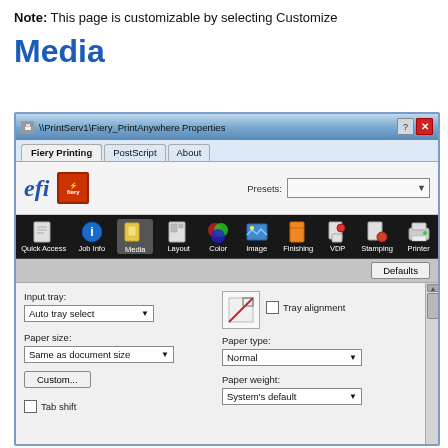Note: This page is customizable by selecting Customize
Media
[Figure (screenshot): Screenshot of Fiery PrintAnywhere Properties dialog showing Media tab with toolbar icons (Quick Access, Job Info, Media, Layout, Color, Image, Finishing, VDP, Stamping, Printer), Input tray dropdown (Auto tray select), Paper size dropdown (Same as document size), Custom button, Tray alignment checkbox, Paper type dropdown (Normal), Paper weight dropdown (System's default), Tab shift checkbox, and Defaults button.]